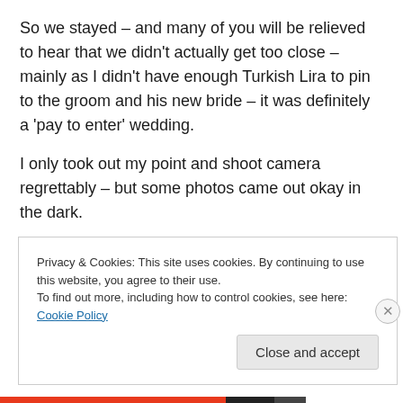So we stayed – and many of you will be relieved to hear that we didn't actually get too close – mainly as I didn't have enough Turkish Lira to pin to the groom and his new bride – it was definitely a 'pay to enter' wedding.
I only took out my point and shoot camera regrettably – but some photos came out okay in the dark.
[Figure (photo): Broken image placeholder labeled IMG_7079]
Privacy & Cookies: This site uses cookies. By continuing to use this website, you agree to their use.
To find out more, including how to control cookies, see here: Cookie Policy
Close and accept